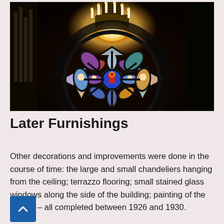[Figure (photo): Interior photograph of a cathedral rose window with colorful stained glass depicting religious figures arranged in petal shapes around a central medallion. A large ornate chandelier with candles hangs above the window. The background is dark, and the window illuminates with blues, reds, whites, and gold.]
Later Furnishings
Other decorations and improvements were done in the course of time: the large and small chandeliers hanging from the ceiling; terrazzo flooring; small stained glass windows along the side of the building; painting of the interior – all completed between 1926 and 1930.
In more recent times, the following have been